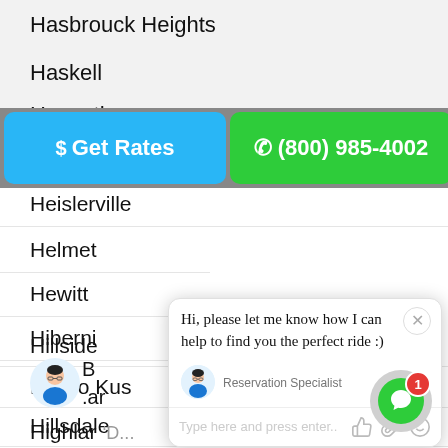Hasbrouck Heights
Haskell
Haworth
$ Get Rates
(800) 985-4002
Heislerville
Helmet
Hewitt
Hiberni
[Figure (screenshot): Chat popup overlay showing a message 'Hi, please let me know how I can help to find you the perfect ride :)' from a Reservation Specialist, just now, with a text input area.]
Highland Park
Highland Lakes
Hightstown
Hillsborough
Hillsdale
Hillside
Ho Ho Kus